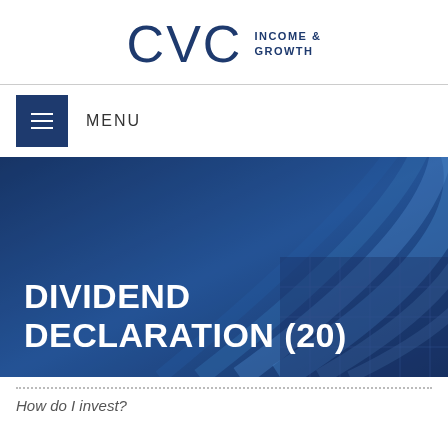CVC INCOME & GROWTH
MENU
[Figure (screenshot): CVC Income & Growth website hero banner with blue architectural background showing curved glass building panels, with large white text reading DIVIDEND DECLARATION (20)]
DIVIDEND DECLARATION (20)
How do I invest?